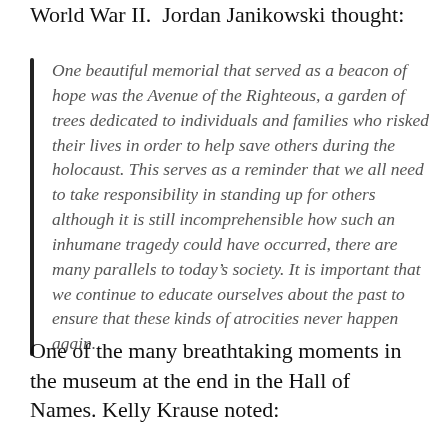World War II.  Jordan Janikowski thought:
One beautiful memorial that served as a beacon of hope was the Avenue of the Righteous, a garden of trees dedicated to individuals and families who risked their lives in order to help save others during the holocaust. This serves as a reminder that we all need to take responsibility in standing up for others although it is still incomprehensible how such an inhumane tragedy could have occurred, there are many parallels to today's society. It is important that we continue to educate ourselves about the past to ensure that these kinds of atrocities never happen again.
One of the many breathtaking moments in the museum at the end in the Hall of Names. Kelly Krause noted: